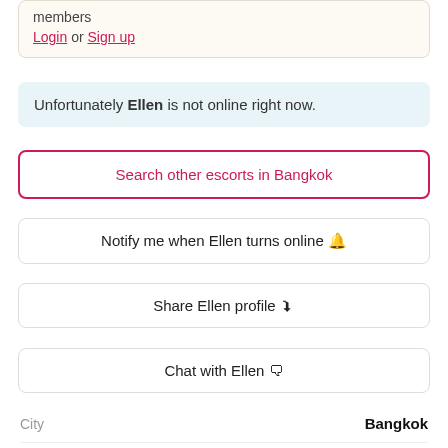members
Login or Sign up
Unfortunately Ellen is not online right now.
Search other escorts in Bangkok
Notify me when Ellen turns online 🔔
Share Ellen profile 🔗
Chat with Ellen 💬
City  Bangkok
Model Rating  4.4 ⭐
Agency  Pure Bangkok Escorts
Agency Rating  4.4 ⭐